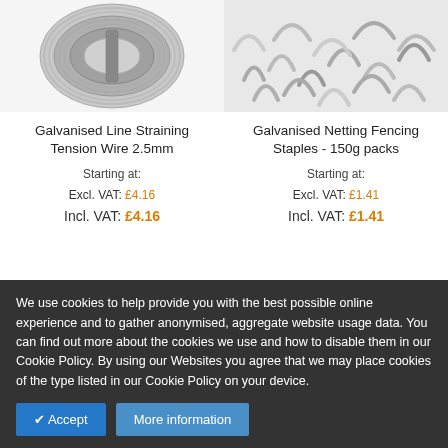[Figure (photo): Photo of a galvanised wire spool/coil, silver metallic wire wound in a roll, viewed from above]
[Figure (photo): Photo of galvanised netting fencing staples, a pile of U-shaped metal staples in silver/grey]
Galvanised Line Straining Tension Wire 2.5mm
Galvanised Netting Fencing Staples - 150g packs
Starting at:
Excl. VAT: £4.16
Incl. VAT: £4.16
Starting at:
Excl. VAT: £1.41
Incl. VAT: £1.41
We use cookies to help provide you with the best possible online experience and to gather anonymised, aggregate website usage data. You can find out more about the cookies we use and how to disable them in our Cookie Policy. By using our Websites you agree that we may place cookies of the type listed in our Cookie Policy on your device.